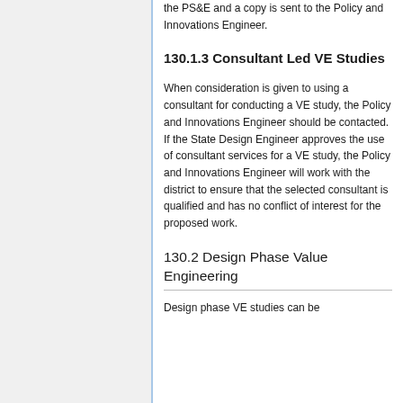the PS&E and a copy is sent to the Policy and Innovations Engineer.
130.1.3 Consultant Led VE Studies
When consideration is given to using a consultant for conducting a VE study, the Policy and Innovations Engineer should be contacted. If the State Design Engineer approves the use of consultant services for a VE study, the Policy and Innovations Engineer will work with the district to ensure that the selected consultant is qualified and has no conflict of interest for the proposed work.
130.2 Design Phase Value Engineering
Design phase VE studies can be